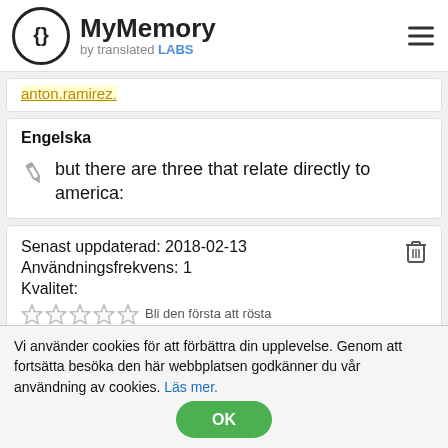MyMemory by translated LABS
anton.ramirez.
Engelska
but there are three that relate directly to america:
Senast uppdaterad: 2018-02-13
Användningsfrekvens: 1
Kvalitet:
Bli den första att rösta
Vi använder cookies för att förbättra din upplevelse. Genom att fortsätta besöka den här webbplatsen godkänner du vår användning av cookies. Läs mer. OK